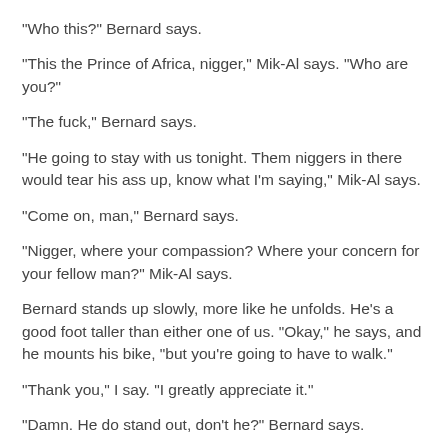“Who this?” Bernard says.
“This the Prince of Africa, nigger,” Mik-Al says. “Who are you?”
“The fuck,” Bernard says.
“He going to stay with us tonight. Them niggers in there would tear his ass up, know what I’m saying,” Mik-Al says.
“Come on, man,” Bernard says.
“Nigger, where your compassion? Where your concern for your fellow man?” Mik-Al says.
Bernard stands up slowly, more like he unfolds. He’s a good foot taller than either one of us. “Okay,” he says, and he mounts his bike, “but you’re going to have to walk.”
“Thank you,” I say. “I greatly appreciate it.”
“Damn. He do stand out, don’t he?” Bernard says.
“I told you, this motherfucker the Prince of Africa,” Mik-Al says. “I bet he got a million dollars.”